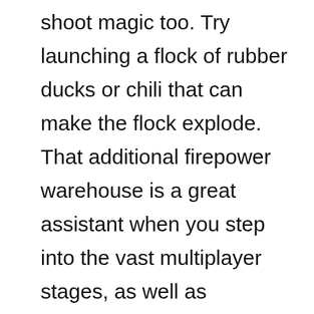shoot magic too. Try launching a flock of rubber ducks or chili that can make the flock explode. That additional firepower warehouse is a great assistant when you step into the vast multiplayer stages, as well as unpredictable boss battles.
Do you want to set a scoring record? Collect feathers to upgrade the birds, as well as equip them with eye patches, astronaut hats, and many other accessories. You can earn these items from continuous daily quests, battles with online opponents, or from Tower of